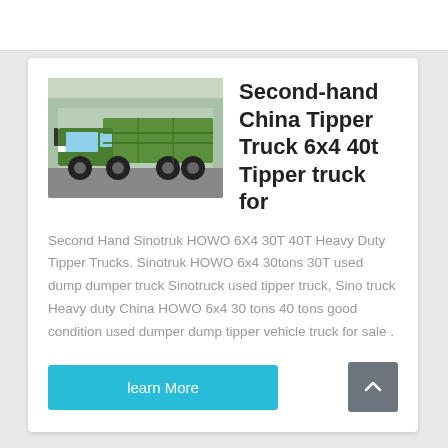[Figure (photo): Green Sinotruk HOWO tipper/dump truck parked outdoors, side and front view visible]
Second-hand China Tipper Truck 6x4 40t Tipper truck for
Second Hand Sinotruk HOWO 6X4 30T 40T Heavy Duty Tipper Trucks. Sinotruk HOWO 6x4 30tons 30T used dump dumper truck Sinotruck used tipper truck, Sino truck Heavy duty China HOWO 6x4 30 tons 40 tons good condition used dumper dump tipper vehicle truck for sale .